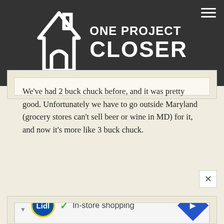One Project Closer
We've had 2 buck chuck before, and it was pretty good. Unfortunately we have to go outside Maryland (grocery stores can't sell beer or wine in MD) for it, and now it's more like 3 buck chuck.
Blondeerin79 says: February 6, 2013 at 1:27 pm
Looks awesome!